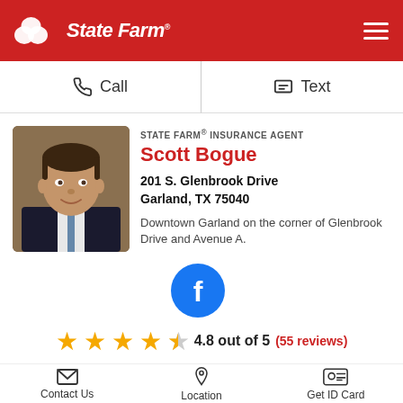[Figure (logo): State Farm logo with three oval shapes and text 'State Farm' in white italic on red background header]
Call
Text
STATE FARM® INSURANCE AGENT
Scott Bogue
201 S. Glenbrook Drive
Garland, TX 75040
Downtown Garland on the corner of Glenbrook Drive and Avenue A.
[Figure (photo): Professional headshot of Scott Bogue, a man in a dark suit and tie]
[Figure (logo): Facebook circular blue icon with white f]
4.8 out of 5 (55 reviews)
Contact Us
Location
Get ID Card